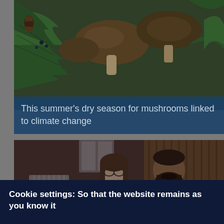[Figure (photo): Close-up photo of brown mushrooms among green pine tree branches]
This summer's dry season for mushrooms linked to climate change
[Figure (photo): Two people, a woman with glasses and a bearded man, posing together indoors near wooden paneling and a radiator]
Cookie settings: So that the website remains as you know it